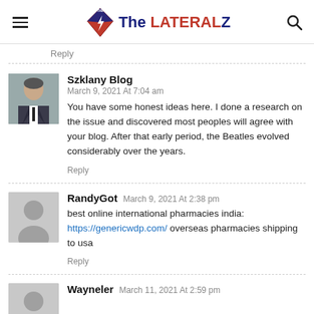The LATERALZ
Reply
Szklany Blog
March 9, 2021 At 7:04 am
You have some honest ideas here. I done a research on the issue and discovered most peoples will agree with your blog. After that early period, the Beatles evolved considerably over the years.
Reply
RandyGot March 9, 2021 At 2:38 pm
best online international pharmacies india: https://genericwdp.com/ overseas pharmacies shipping to usa
Reply
Wayneler March 11, 2021 At 2:59 pm